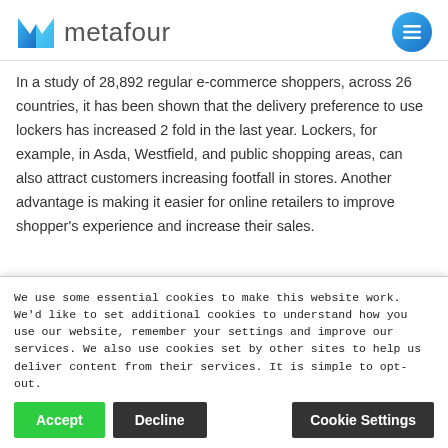metafour
In a study of 28,892 regular e-commerce shoppers, across 26 countries, it has been shown that the delivery preference to use lockers has increased 2 fold in the last year. Lockers, for example, in Asda, Westfield, and public shopping areas, can also attract customers increasing footfall in stores. Another advantage is making it easier for online retailers to improve shopper's experience and increase their sales.
We use some essential cookies to make this website work. We'd like to set additional cookies to understand how you use our website, remember your settings and improve our services. We also use cookies set by other sites to help us deliver content from their services. It is simple to opt-out.
Accept Decline Cookie Settings